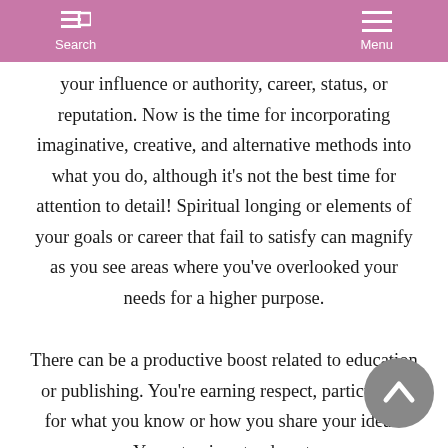Search  Menu
your influence or authority, career, status, or reputation. Now is the time for incorporating imaginative, creative, and alternative methods into what you do, although it's not the best time for attention to detail! Spiritual longing or elements of your goals or career that fail to satisfy can magnify as you see areas where you've overlooked your needs for a higher purpose.
There can be a productive boost related to education or publishing. You're earning respect, particularly for what you know or how you share your ideas. Your stamina stands out.